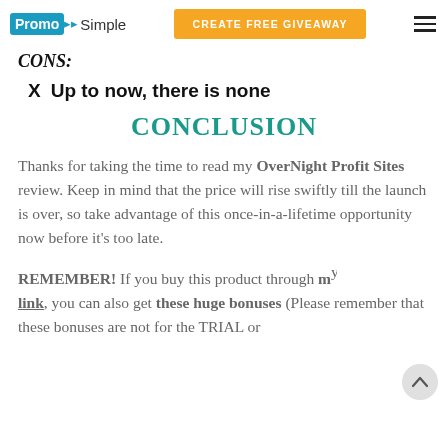PromoSimple | CREATE FREE GIVEAWAY
CONS:
X  Up to now, there is none
CONCLUSION
Thanks for taking the time to read my OverNight Profit Sites review. Keep in mind that the price will rise swiftly till the launch is over, so take advantage of this once-in-a-lifetime opportunity now before it's too late.
REMEMBER! If you buy this product through my link, you can also get these huge bonuses (Please remember that these bonuses are not for the TRIAL or